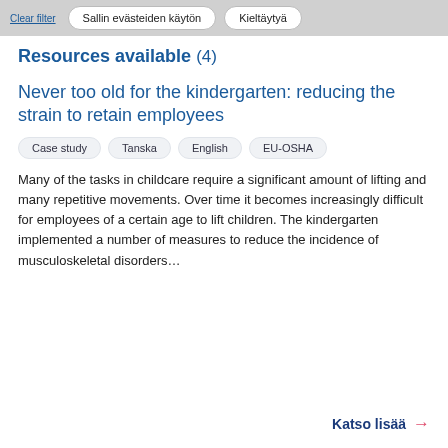Clear filter
Sallin evästeiden käytön | Kieltäytyä
Resources available (4)
Never too old for the kindergarten: reducing the strain to retain employees
Case study
Tanska
English
EU-OSHA
Many of the tasks in childcare require a significant amount of lifting and many repetitive movements. Over time it becomes increasingly difficult for employees of a certain age to lift children. The kindergarten implemented a number of measures to reduce the incidence of musculoskeletal disorders…
Katso lisää →